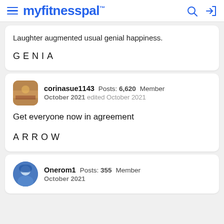myfitnesspal
Laughter augmented usual genial happiness.
GENIA
corinasue1143  Posts: 6,620  Member  October 2021  edited October 2021
Get everyone now in agreement
ARROW
Onerom1  Posts: 355  Member  October 2021